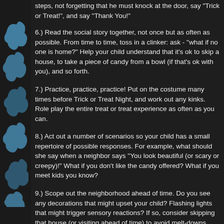steps, not forgetting that he must knock at the door, say "Trick or Treat!", and say "Thank You!"
6.) Read the social story together, not once but as often as possible. From time to time, toss in a clinker: ask - "what if no one is home?" Help your child understand that it's ok to skip a house, to take a piece of candy from a bowl (if that's ok with you), and so forth.
7.) Practice, practice, practice! Put on the costume many times before Trick or Treat Night, and work out any kinks. Role play the entire treat or treat experience as often as you can.
8.) Act out a number of scenarios so your child has a small repertoire of possible responses. For example, what should she say when a neighbor says "You look beautiful (or scary or creepy)!" What if you don't like the candy offered? What if you meet kids you know?
9.) Scope out the neighborhood ahead of time. Do you see any decorations that might upset your child? Flashing lights that might trigger sensory reactions? If so, consider skipping that house (or visiting ahead of time) to avoid melt-downs.
10.) Consider recruiting peer support. If your child with autism has siblings (or his siblings have other plans), consider recruiting another